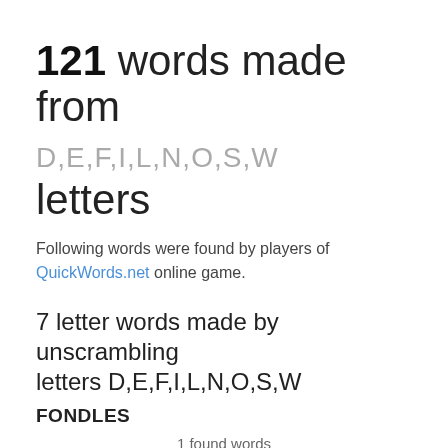121 words made from D,E,F,I,L,N,O,S,W letters
Following words were found by players of QuickWords.net online game.
7 letter words made by unscrambling letters D,E,F,I,L,N,O,S,W
FONDLES
1 found words
6 letter words made by unscrambling letters D,E,F,I,L,N,O,S,W